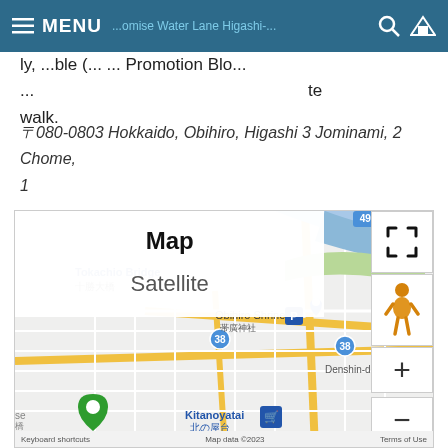MENU | [navigation bar with search and home icons]
...y ...ble (... ... Promotion Blo... ... te walk.
〒080-0803 Hokkaido, Obihiro, Higashi 3 Jominami, 2 Chome, 1
[Figure (map): Google Maps view of Obihiro area showing Tokachi Bridge, Obihiro Shrine, Kitanoyatai, Denshin-dori, with map/satellite toggle overlay and zoom controls]